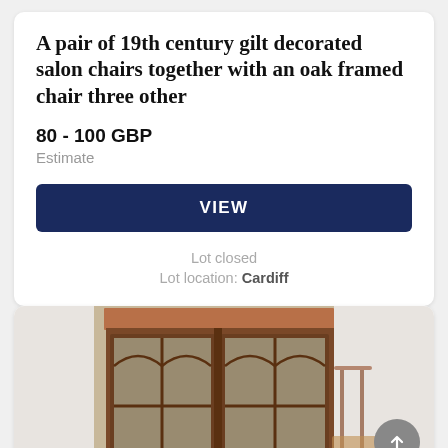A pair of 19th century gilt decorated salon chairs together with an oak framed chair three other
80 - 100 GBP
Estimate
VIEW
Lot closed
Lot location: Cardiff
[Figure (photo): A mahogany display cabinet with glazed double doors featuring arched glazing bars, photographed in an auction house setting with other furniture visible in the background including chairs and a side table.]